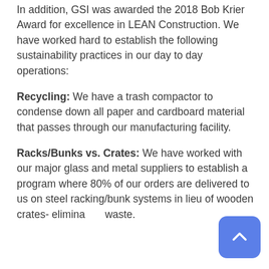In addition, GSI was awarded the 2018 Bob Krier Award for excellence in LEAN Construction. We have worked hard to establish the following sustainability practices in our day to day operations:
Recycling: We have a trash compactor to condense down all paper and cardboard material that passes through our manufacturing facility.
Racks/Bunks vs. Crates: We have worked with our major glass and metal suppliers to establish a program where 80% of our orders are delivered to us on steel racking/bunk systems in lieu of wooden crates- eliminating waste.